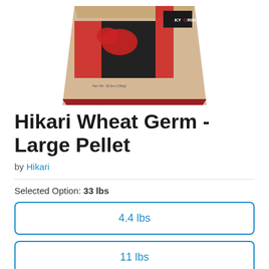[Figure (photo): A large bag of Hikari Wheat Germ fish food with Kyorin branding, tan/beige bag with red and black design elements, shown partially cropped at the top of the page.]
Hikari Wheat Germ - Large Pellet
by Hikari
Selected Option: 33 lbs
4.4 lbs
11 lbs
33 lbs